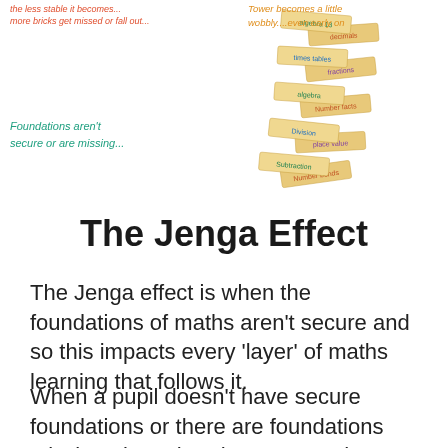[Figure (illustration): Jenga tower illustration with colored text annotations: 'the less stable it becomes... more bricks get missed or fall out...' in red/orange at top left, text on right side in orange 'Tower becomes a little wobbly....even early on', teal text on left 'Foundations aren't secure or are missing...', with Jenga blocks labeled with math topics (Division, Number bonds, Subtraction, place value, etc.)]
The Jenga Effect
The Jenga effect is when the foundations of maths aren't secure and so this impacts every 'layer' of maths learning that follows it.
When a pupil doesn't have secure foundations or there are foundations missing altogether the more maths knowledge and understanding that is